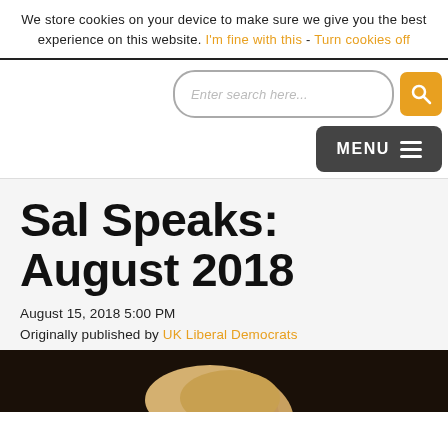We store cookies on your device to make sure we give you the best experience on this website. I'm fine with this - Turn cookies off
[Figure (screenshot): Search bar with rounded border and placeholder text 'Enter search here...' and an orange search button with magnifying glass icon]
[Figure (screenshot): Dark grey MENU button with three horizontal lines (hamburger icon)]
Sal Speaks: August 2018
August 15, 2018 5:00 PM
Originally published by UK Liberal Democrats
[Figure (photo): Partial photo of a person with blonde hair against a dark background, cropped at bottom of page]